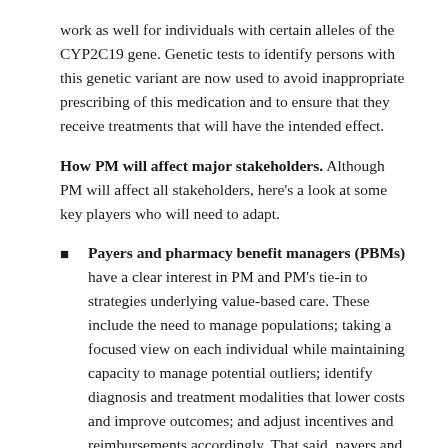work as well for individuals with certain alleles of the CYP2C19 gene. Genetic tests to identify persons with this genetic variant are now used to avoid inappropriate prescribing of this medication and to ensure that they receive treatments that will have the intended effect.
How PM will affect major stakeholders. Although PM will affect all stakeholders, here's a look at some key players who will need to adapt.
Payers and pharmacy benefit managers (PBMs) have a clear interest in PM and PM's tie-in to strategies underlying value-based care. These include the need to manage populations; taking a focused view on each individual while maintaining capacity to manage potential outliers; identify diagnosis and treatment modalities that lower costs and improve outcomes; and adjust incentives and reimbursements accordingly. That said, payers and PBMs will need to construct PM-based